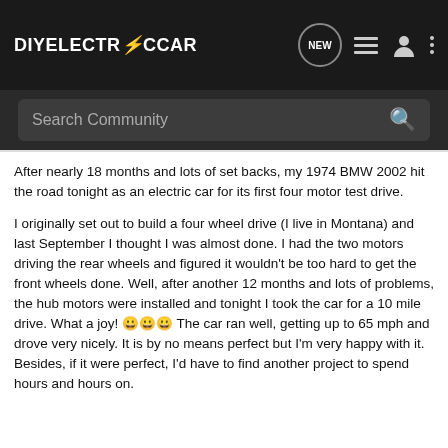DIYELECTRicCAR — navigation bar with logo and icons
Search Community
After nearly 18 months and lots of set backs, my 1974 BMW 2002 hit the road tonight as an electric car for its first four motor test drive.
I originally set out to build a four wheel drive (I live in Montana) and last September I thought I was almost done. I had the two motors driving the rear wheels and figured it wouldn't be too hard to get the front wheels done. Well, after another 12 months and lots of problems, the hub motors were installed and tonight I took the car for a 10 mile drive. What a joy! 😀😀😀 The car ran well, getting up to 65 mph and drove very nicely. It is by no means perfect but I'm very happy with it. Besides, if it were perfect, I'd have to find another project to spend hours and hours on.